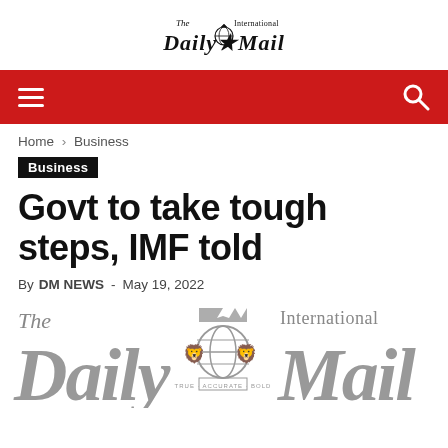The International Daily Mail
[Figure (logo): The International Daily Mail newspaper logo in header - black gothic text with globe icon]
Home › Business
Business
Govt to take tough steps, IMF told
By DM NEWS - May 19, 2022
[Figure (logo): Large The International Daily Mail newspaper logo watermark in grey gothic/old English font with globe and lion crest]